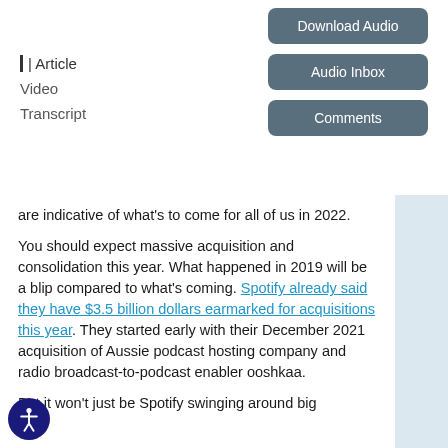| Article
Video
Transcript
Download Audio
Audio Inbox
Comments
are indicative of what's to come for all of us in 2022.
You should expect massive acquisition and consolidation this year. What happened in 2019 will be a blip compared to what's coming. Spotify already said they have $3.5 billion dollars earmarked for acquisitions this year. They started early with their December 2021 acquisition of Aussie podcast hosting company and radio broadcast-to-podcast enabler ooshkaa.
But it won't just be Spotify swinging around big